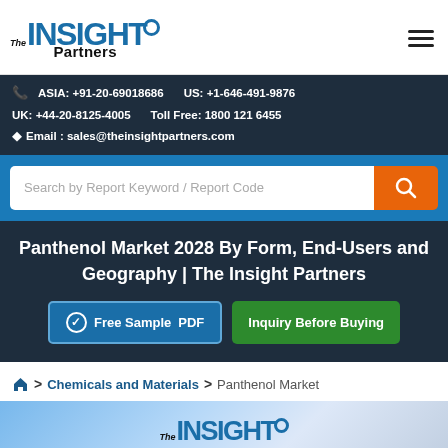The Insight Partners
ASIA: +91-20-69018686   US: +1-646-491-9876
UK: +44-20-8125-4005   Toll Free: 1800 121 6455
Email : sales@theinsightpartners.com
Search by Report Keyword / Report Code
Panthenol Market 2028 By Form, End-Users and Geography | The Insight Partners
Free Sample PDF
Inquiry Before Buying
Home > Chemicals and Materials > Panthenol Market
[Figure (logo): The Insight Partners logo at bottom of page]